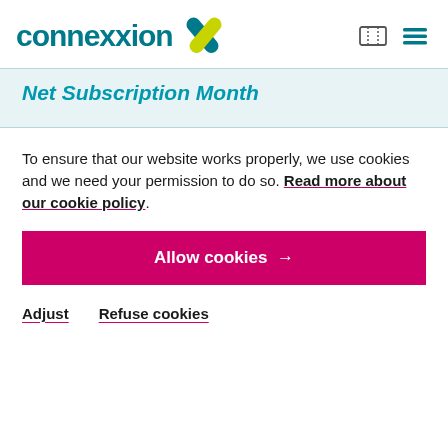connexxion [logo with ticket icon and hamburger menu]
Net Subscription Month
To ensure that our website works properly, we use cookies and we need your permission to do so. Read more about our cookie policy.
Allow cookies →
Adjust    Refuse cookies